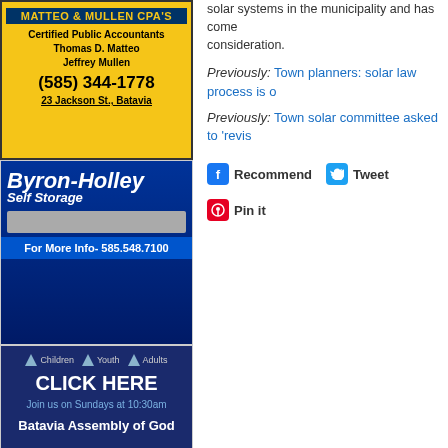[Figure (photo): Matteo & Mullen CPA's advertisement - yellow background with blue banner, Certified Public Accountants, Thomas D. Matteo, Jeffrey Mullen, (585) 344-1778, 23 Jackson St., Batavia]
[Figure (photo): Byron-Holley Self Storage advertisement - blue background, white italic text, For More Info- 585.548.7100]
[Figure (photo): Batavia Assembly of God advertisement - dark blue background, Children Youth Adults icons, CLICK HERE, Join us on Sundays at 10:30am]
[Figure (photo): Gerace Realty advertisement - red logo, CLICK HERE TO VIEW LISTINGS in yellow, Robert J. Gerace, Associate Real Estate Broker, (585) 813-4902]
Our Towns
Alabama
Alexander
solar systems in the municipality and has come consideration.
Previously: Town planners: solar law process is o
Previously: Town solar committee asked to 'revis
Recommend  Tweet  Pin it